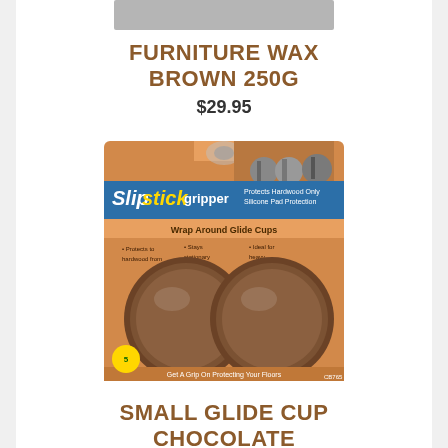[Figure (photo): Product image of Furniture Wax Brown 250G (partially visible at top)]
FURNITURE WAX BROWN 250G
$29.95
[Figure (photo): Slipstick Gripper Small Glide Cup Chocolate product packaging showing two brown circular glide cups]
SMALL GLIDE CUP CHOCOLATE
$19.95